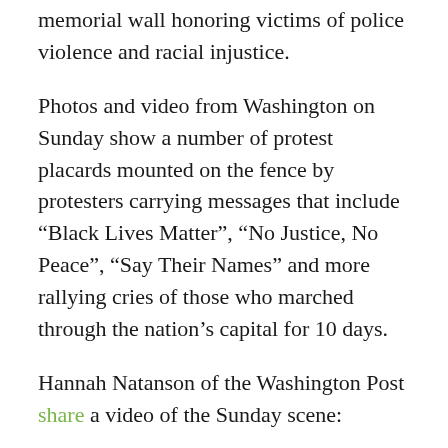memorial wall honoring victims of police violence and racial injustice.
Photos and video from Washington on Sunday show a number of protest placards mounted on the fence by protesters carrying messages that include “Black Lives Matter”, “No Justice, No Peace”, “Say Their Names” and more rallying cries of those who marched through the nation’s capital for 10 days.
Hannah Natanson of the Washington Post share a video of the Sunday scene:
Washington has seen daily protests for more than a week after the death of George Floyd, the 46-year-old black man who died on May 25 when a Minneapolis policeman knelt on his neck for nearly nine minutes during a ‘an arrest.
The officer, Derek Chauvin, was fired and then arrested and charged with second degree murder and second degree manslaughter, while three other officers at the scene were fired and then charged with aiding and abetting.